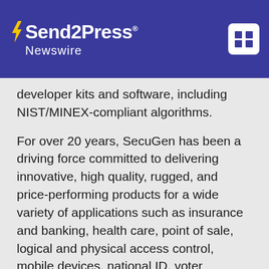Send2Press Newswire
developer kits and software, including NIST/MINEX-compliant algorithms.
For over 20 years, SecuGen has been a driving force committed to delivering innovative, high quality, rugged, and price-performing products for a wide variety of applications such as insurance and banking, health care, point of sale, logical and physical access control, mobile devices, national ID, voter registration, SIM card authentication, fleet management, and many more.